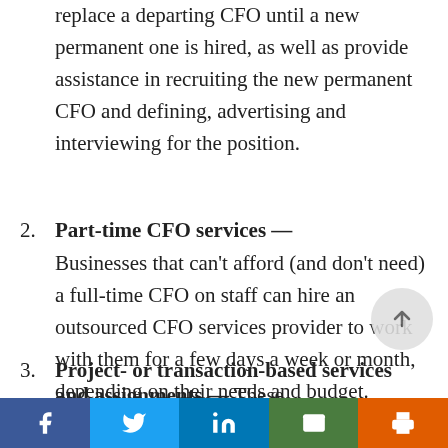replace a departing CFO until a new permanent one is hired, as well as provide assistance in recruiting the new permanent CFO and defining, advertising and interviewing for the position.
2. Part-time CFO services — Businesses that can't afford (and don't need) a full-time CFO on staff can hire an outsourced CFO services provider to work with them for a few days a week or month, depending on their needs and budget.
3. Project- or transaction-based services and assignments — These